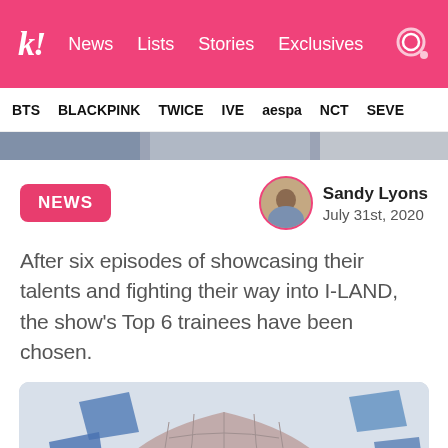k! News Lists Stories Exclusives
BTS BLACKPINK TWICE IVE aespa NCT SEVE
[Figure (photo): Partial banner image strip showing a person]
NEWS
Sandy Lyons
July 31st, 2020
After six episodes of showcasing their talents and fighting their way into I-LAND, the show's Top 6 trainees have been chosen.
[Figure (photo): I-LAND show dome/igloo structure with floating blue geometric shapes]